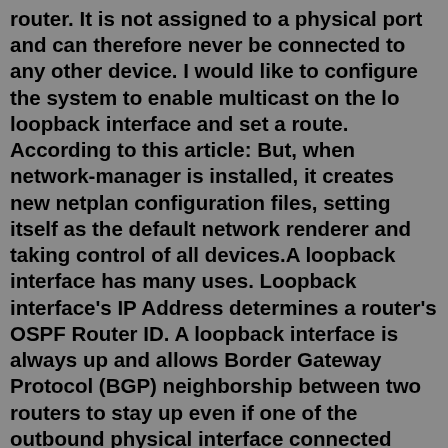router. It is not assigned to a physical port and can therefore never be connected to any other device. I would like to configure the system to enable multicast on the lo loopback interface and set a route. According to this article: But, when network-manager is installed, it creates new netplan configuration files, setting itself as the default network renderer and taking control of all devices.A loopback interface has many uses. Loopback interface's IP Address determines a router's OSPF Router ID. A loopback interface is always up and allows Border Gateway Protocol (BGP) neighborship between two routers to stay up even if one of the outbound physical interface connected between the routers is down. What is a loopback interface used for? More Runtime Stats for a Virtual Router. Routing Tab. RIP Tab. BGP Tab. Multicast Tab. BFD Summary Information Tab. ... Network > Network Profiles > SD-WAN Interface Profile. Device. Device > Setup. Device > Setup > Management. Device > Setup > Operations. ... Manage Default Trusted Certificate